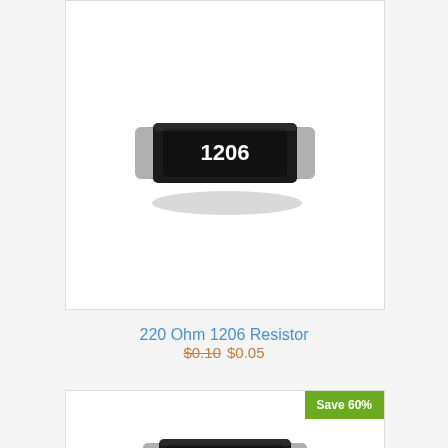[Figure (photo): SMD 1206 package resistor component, black body with silver ends, labeled '1206']
220 Ohm 1206 Resistor
$0.10 $0.05
[Figure (photo): SMD 0603 package resistor component, black body with silver ends, labeled '0603', with 'Save 60%' badge]